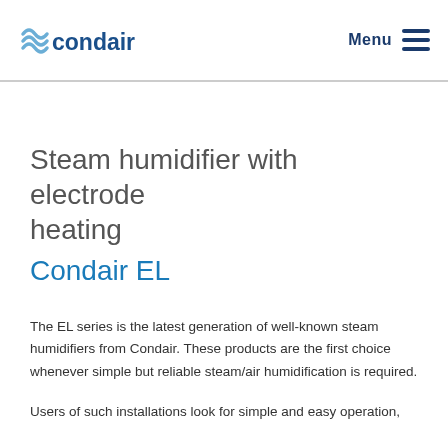condair | Menu
Steam humidifier with electrode heating
Condair EL
The EL series is the latest generation of well-known steam humidifiers from Condair. These products are the first choice whenever simple but reliable steam/air humidification is required.
Users of such installations look for simple and easy operation,